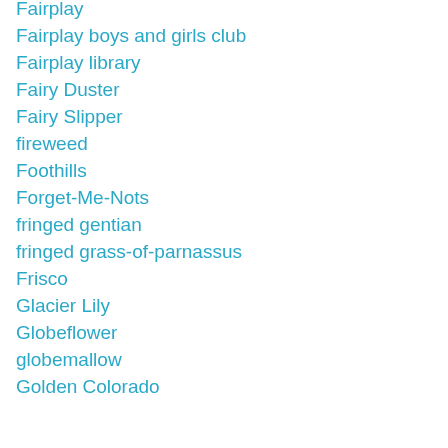Fairplay
Fairplay boys and girls club
Fairplay library
Fairy Duster
Fairy Slipper
fireweed
Foothills
Forget-Me-Nots
fringed gentian
fringed grass-of-parnassus
Frisco
Glacier Lily
Globeflower
globemallow
Golden Colorado